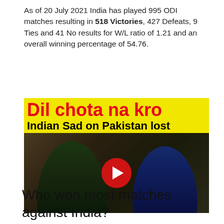As of 20 July 2021 India has played 995 ODI matches resulting in 518 Victories, 427 Defeats, 9 Ties and 41 No results for W/L ratio of 1.21 and an overall winning percentage of 54.76.
[Figure (screenshot): YouTube video thumbnail with yellow background showing red text 'Dil chota na kro' and black text 'Indian Sad on Pakistan lost', with a play button overlay and photo of people]
Who won most matches against India?